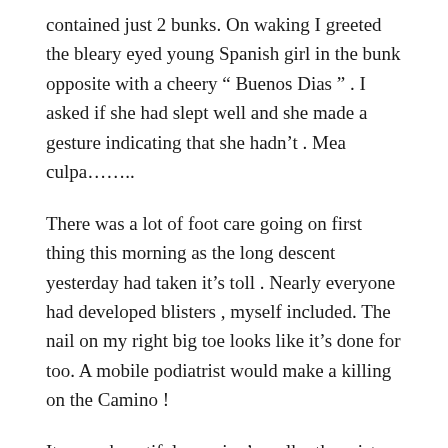contained just 2 bunks. On waking I greeted the bleary eyed young Spanish girl in the bunk opposite with a cheery " Buenos Dias " . I asked if she had slept well and she made a gesture indicating that she hadn't . Mea culpa……...
There was a lot of foot care going on first thing this morning as the long descent yesterday had taken it's toll . Nearly everyone had developed blisters , myself included. The nail on my right big toe looks like it's done for too. A mobile podiatrist would make a killing on the Camino !
It was a beautiful morning's walk , the mist taking until late morning to clear and providing some great photo opportunities as we ascended to a windmill lined ridge